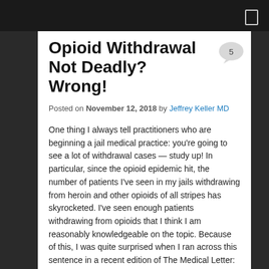Opioid Withdrawal Not Deadly? Wrong!
Posted on November 12, 2018 by Jeffrey Keller MD
One thing I always tell practitioners who are beginning a jail medical practice: you're going to see a lot of withdrawal cases — study up! In particular, since the opioid epidemic hit, the number of patients I've seen in my jails withdrawing from heroin and other opioids of all stripes has skyrocketed. I've seen enough patients withdrawing from opioids that I think I am reasonably knowledgeable on the topic. Because of this, I was quite surprised when I ran across this sentence in a recent edition of The Medical Letter:
"Opioid withdrawal is not life-threatening." — The Medical Letter